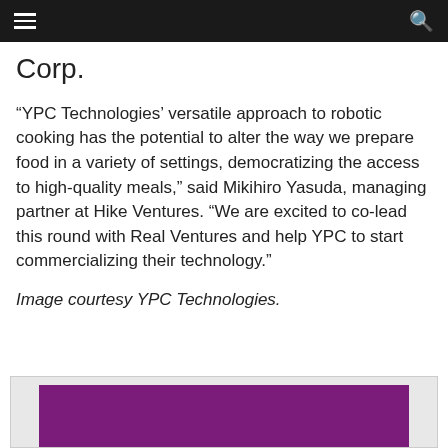Corp.
“YPC Technologies’ versatile approach to robotic cooking has the potential to alter the way we prepare food in a variety of settings, democratizing the access to high-quality meals,” said Mikihiro Yasuda, managing partner at Hike Ventures. “We are excited to co-lead this round with Real Ventures and help YPC to start commercializing their technology.”
Image courtesy YPC Technologies.
[Figure (photo): Partial view of an image with a purple/magenta background, likely a product or event photo related to YPC Technologies.]